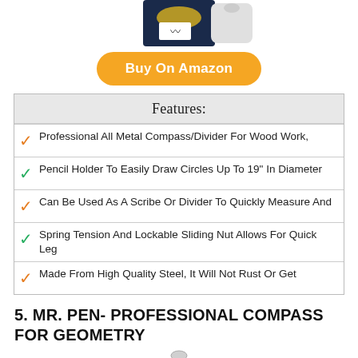[Figure (photo): Partial product photo of a compass/divider tool at top of page]
Buy On Amazon
| Features: |
| --- |
| Professional All Metal Compass/Divider For Wood Work, |
| Pencil Holder To Easily Draw Circles Up To 19" In Diameter |
| Can Be Used As A Scribe Or Divider To Quickly Measure And |
| Spring Tension And Lockable Sliding Nut Allows For Quick Leg |
| Made From High Quality Steel, It Will Not Rust Or Get |
5. MR. PEN- PROFESSIONAL COMPASS FOR GEOMETRY
[Figure (photo): Partial product photo of Mr. Pen professional compass for geometry at bottom of page]